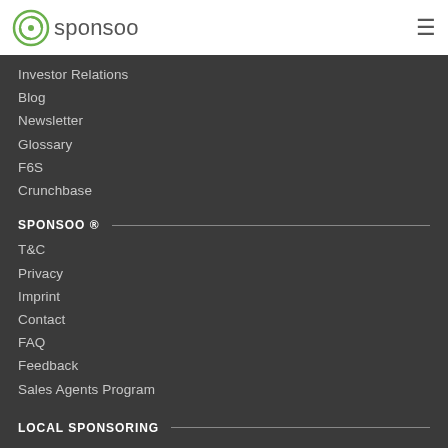sponsoo
Investor Relations
Blog
Newsletter
Glossary
F6S
Crunchbase
SPONSOO ®
T&C
Privacy
Imprint
Contact
FAQ
Feedback
Sales Agents Program
LOCAL SPONSORING